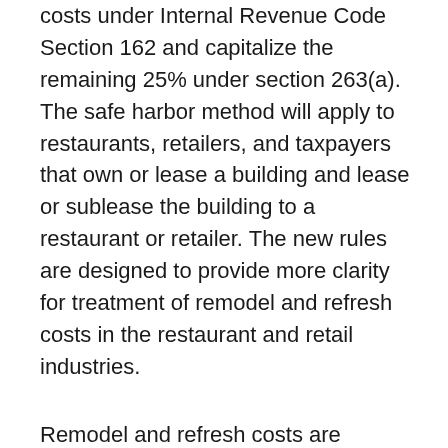costs under Internal Revenue Code Section 162 and capitalize the remaining 25% under section 263(a). The safe harbor method will apply to restaurants, retailers, and taxpayers that own or lease a building and lease or sublease the building to a restaurant or retailer. The new rules are designed to provide more clarity for treatment of remodel and refresh costs in the restaurant and retail industries.
Remodel and refresh costs are classified as amounts paid by a qualified taxpayer for remodel, refresh, repair, maintenance or similar activities performed on a qualified building as part of a